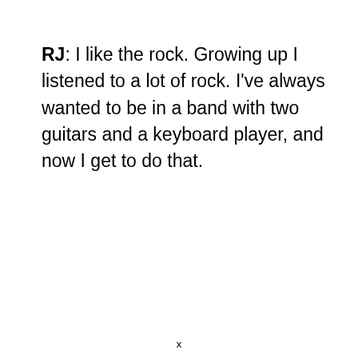RJ:  I like the rock.  Growing up I listened to a lot of rock.  I've always wanted to be in a band with two guitars and a keyboard player, and now I get to do that.
x